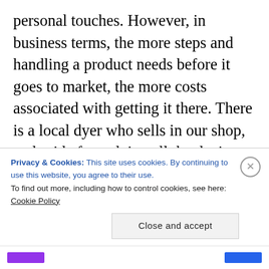personal touches. However, in business terms, the more steps and handling a product needs before it goes to market, the more costs associated with getting it there. There is a local dyer who sells in our shop, and aside from doing all the dyeing herself, she also rewinds all the skeins. That’s so many more hours of work than producing synthetics in a factory! Another company stopped re-skeining their yarn after the dye process just to cut out an extra step to keep the costs lower for the consumer. However, no matter how much these small businesses try to be efficient and keep costs
Privacy & Cookies: This site uses cookies. By continuing to use this website, you agree to their use.
To find out more, including how to control cookies, see here: Cookie Policy
Close and accept